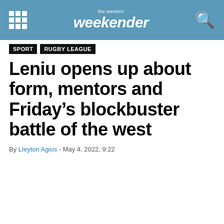the western weekender
SPORT
RUGBY LEAGUE
Leniu opens up about form, mentors and Friday's blockbuster battle of the west
By Lleyton Agius - May 4, 2022, 9:22